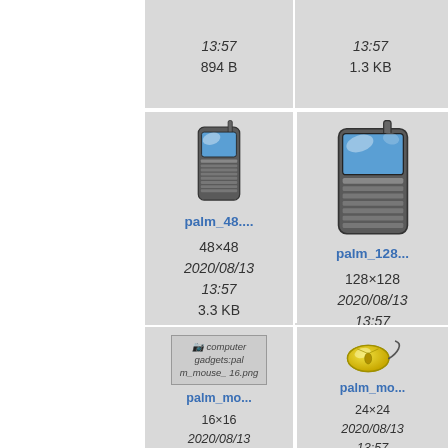[Figure (screenshot): File browser grid view showing icon files. Top row (partial): two cells showing file metadata (13:57, 894 B) and (13:57, 1.3 KB). Middle row: palm_48 icon (48x48 PDA phone icon, 2020/08/13 13:57, 3.3 KB), palm_128 icon (128x128 PDA phone icon, 2020/08/13 13:57, 15.2 KB), partial third cell. Bottom row: palm_mouse_16 (broken image, 16x16, 2020/08/13 13:57), palm_mouse (24x24 yellow mouse icon, 2020/08/13 13:57), partial third cell.]